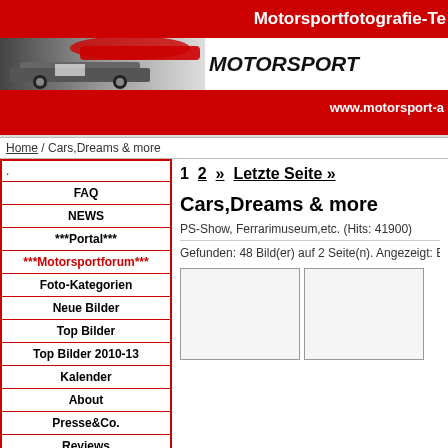[Figure (screenshot): Website header banner with red background, racing cars image, and text 'Motorsportfotografie-Te' and 'MOTORSPORT' logo and 'www.motorsport-a' URL]
Home / Cars,Dreams & more
.
FAQ
NEWS
***Portal***
***Motorsportforum***
Foto-Kategorien
Neue Bilder
Top Bilder
Top Bilder 2010-13
Kalender
About
Presse&Co.
Reviews
Vorschau
Links
1  2  »  Letzte Seite »
Cars,Dreams & more
PS-Show, Ferrarimuseum,etc. (Hits: 41900)
Gefunden: 48 Bild(er) auf 2 Seite(n). Angezeigt: B
[Figure (photo): Two empty thumbnail image boxes side by side]